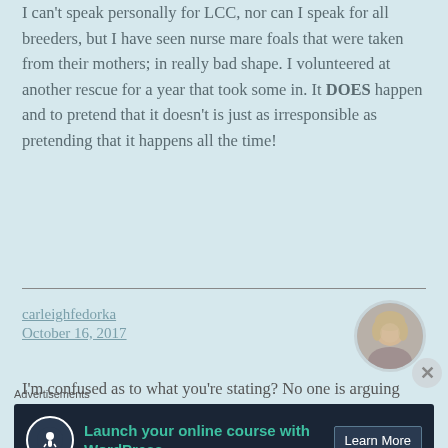I can't speak personally for LCC, nor can I speak for all breeders, but I have seen nurse mare foals that were taken from their mothers; in really bad shape. I volunteered at another rescue for a year that took some in. It DOES happen and to pretend that it doesn't is just as irresponsible as pretending that it happens all the time!
carleighfedorka
October 16, 2017
[Figure (photo): Circular avatar photo of a woman with light hair, dark background]
I'm confused as to what you're stating? No one is arguing that nursemare foals are taken from their mothers. We're
Advertisements
[Figure (infographic): Advertisement banner: 'Launch your online course with WordPress' with a Learn More button, dark navy background, teal text, tree/person icon]